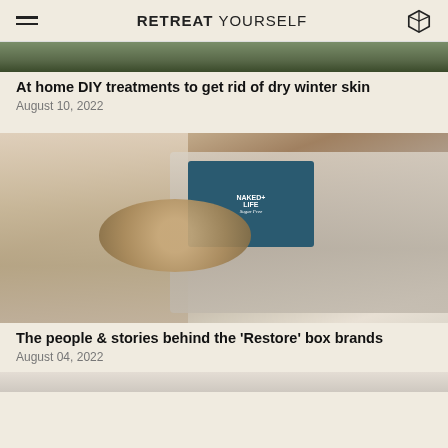RETREAT YOURSELF
[Figure (photo): Partial photo of a person with dry winter skin treatment, cropped at top of page]
At home DIY treatments to get rid of dry winter skin
August 10, 2022
[Figure (photo): Person wearing a robe holding a wooden bowl/jar, surrounded by various skincare and wellness products including Naked Life Sugar Free drinks, Gonzales skin products, and other beauty items in a gift box]
The people & stories behind the 'Restore' box brands
August 04, 2022
[Figure (photo): Partial photo at bottom of page, beginning of another article]